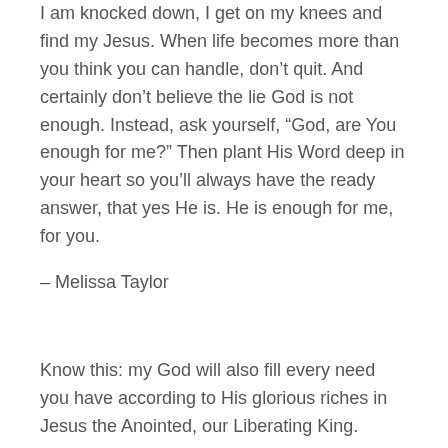I am knocked down, I get on my knees and find my Jesus. When life becomes more than you think you can handle, don't quit. And certainly don't believe the lie God is not enough. Instead, ask yourself, “God, are You enough for me?” Then plant His Word deep in your heart so you’ll always have the ready answer, that yes He is. He is enough for me, for you.
– Melissa Taylor
Know this: my God will also fill every need you have according to His glorious riches in Jesus the Anointed, our Liberating King.
– Philippians 4:19 (VOICE)